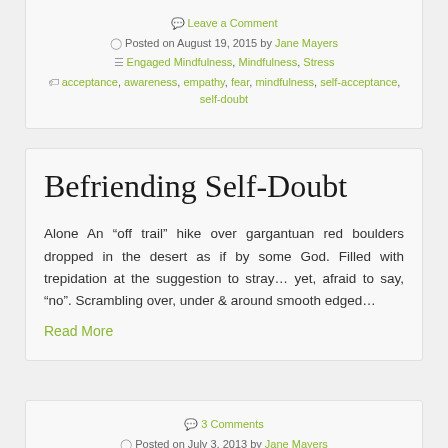Leave a Comment
Posted on August 19, 2015 by Jane Mayers
Engaged Mindfulness, Mindfulness, Stress
acceptance, awareness, empathy, fear, mindfulness, self-acceptance, self-doubt
Befriending Self-Doubt
Alone An “off trail” hike over gargantuan red boulders dropped in the desert as if by some God. Filled with trepidation at the suggestion to stray… yet, afraid to say, “no”. Scrambling over, under & around smooth edged…
Read More
3 Comments
Posted on July 3, 2013 by Jane Mayers
Inspiration, Meditation, Mindfulness